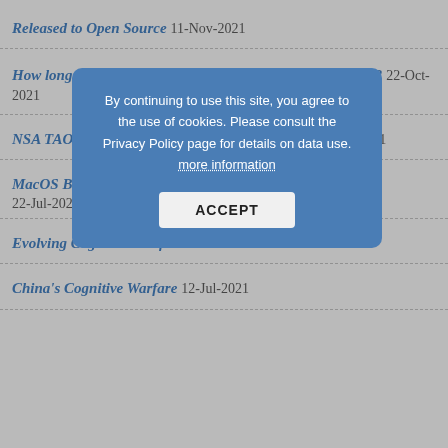Released to Open Source 11-Nov-2021
How long does it take the Bad Guy to break Your password? 22-Oct-2021
NSA TAO Chief on Disruption on State Hackers 22-Oct-2021
MacOS Being Picked Apart by $49 XLoader Data Stealer 22-Jul-2021
Evolving Cognitive Warfare 12-Jul-2021
China's Cognitive Warfare 12-Jul-2021
By continuing to use this site, you agree to the use of cookies. Please consult the Privacy Policy page for details on data use. more information ACCEPT